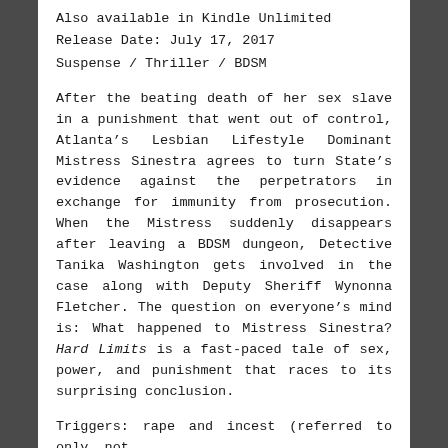Also available in Kindle Unlimited
Release Date: July 17, 2017
Suspense / Thriller / BDSM
After the beating death of her sex slave in a punishment that went out of control, Atlanta’s Lesbian Lifestyle Dominant Mistress Sinestra agrees to turn State’s evidence against the perpetrators in exchange for immunity from prosecution. When the Mistress suddenly disappears after leaving a BDSM dungeon, Detective Tanika Washington gets involved in the case along with Deputy Sheriff Wynonna Fletcher. The question on everyone’s mind is: What happened to Mistress Sinestra? Hard Limits is a fast-paced tale of sex, power, and punishment that races to its surprising conclusion.
Triggers: rape and incest (referred to only, not